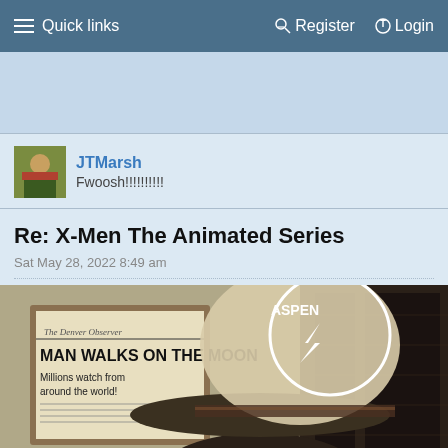Quick links   Register   Login
[Figure (screenshot): Forum navigation bar with Quick links, Register, and Login options on blue background]
JTMarsh
Fwoosh!!!!!!!!!!
Re: X-Men The Animated Series
Sat May 28, 2022 8:49 am
[Figure (photo): Person wearing an Aspen cowboy hat viewed from behind, next to a framed Denver Observer newspaper with headline 'MAN WALKS ON THE MOON - Millions watch from around the world!']